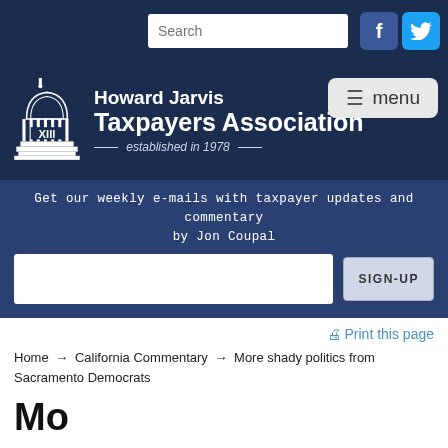[Figure (screenshot): Top navigation bar with search box and Facebook/Twitter social media icons on dark navy background]
[Figure (logo): Howard Jarvis Taxpayers Association logo with capitol building illustration, organization name, and 'established in 1978' tagline on dark navy background, with menu button]
Get our weekly e-mails with taxpayer updates and commentary by Jon Coupal
SIGN-UP
Print this page
Home → California Commentary → More shady politics from Sacramento Democrats
More shady politics from Sacramento Democrats